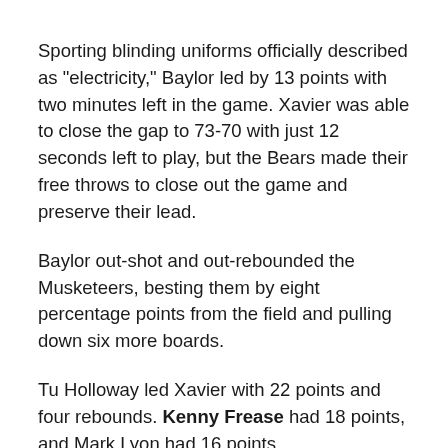Sporting blinding uniforms officially described as "electricity," Baylor led by 13 points with two minutes left in the game. Xavier was able to close the gap to 73-70 with just 12 seconds left to play, but the Bears made their free throws to close out the game and preserve their lead.
Baylor out-shot and out-rebounded the Musketeers, besting them by eight percentage points from the field and pulling down six more boards.
Tu Holloway led Xavier with 22 points and four rebounds. Kenny Frease had 18 points, and Mark Lyon had 16 points.